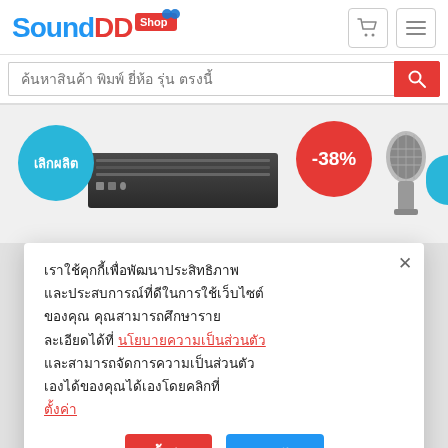[Figure (logo): SoundDD.Shop logo with blue 'Sound', red 'DD', and a shop badge with cart icon]
ค้นหาสินค้า พิมพ์ ยี่ห้อ รุ่น ตรงนี้
[Figure (photo): Product area showing: blue circle badge with 'เลิกผลิต', rack-mount audio equipment, red circle badge with '-38%', and a microphone]
เราใช้คุกกี้เพื่อพัฒนาประสิทธิภาพและประสบการณ์ที่ดีในการใช้เว็บไซต์ของคุณ คุณสามารถศึกษารายละเอียดได้ที่ นโยบายความเป็นส่วนตัว และสามารถจัดการความเป็นส่วนตัวเองได้ของคุณได้เองโดยคลิกที่ ตั้งค่า